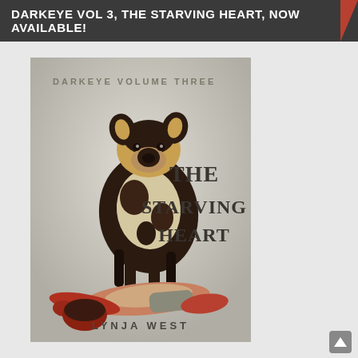DARKEYE VOL 3, THE STARVING HEART, NOW AVAILABLE!
[Figure (illustration): Book cover of 'Darkeye Volume Three: The Starving Heart' by Lynja West. Shows an African wild dog standing over a person lying face-down. The cover text reads 'DARKEYE VOLUME THREE', 'THE STARVING HEART', and 'LYNJA WEST'.]